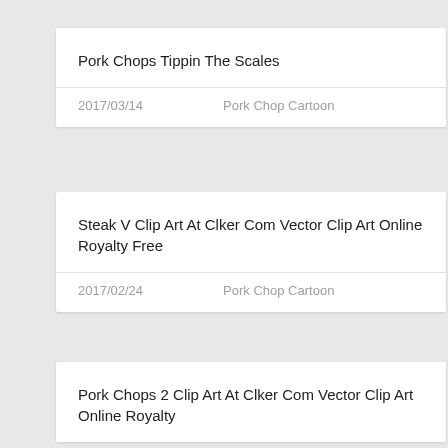Pork Chops Tippin The Scales
2017/03/14    Pork Chop Cartoon
Steak V Clip Art At Clker Com Vector Clip Art Online Royalty Free
2017/02/24    Pork Chop Cartoon
Pork Chops 2 Clip Art At Clker Com Vector Clip Art Online Royalty